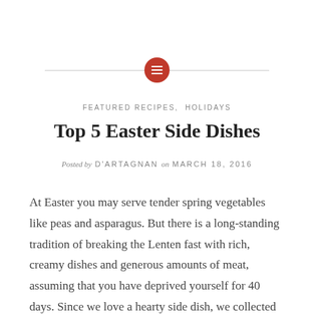[Figure (logo): Red circular icon with white horizontal lines (menu/list icon), flanked by thin horizontal divider lines on each side]
FEATURED RECIPES, HOLIDAYS
Top 5 Easter Side Dishes
Posted by D'ARTAGNAN on MARCH 18, 2016
At Easter you may serve tender spring vegetables like peas and asparagus. But there is a long-standing tradition of breaking the Lenten fast with rich, creamy dishes and generous amounts of meat, assuming that you have deprived yourself for 40 days. Since we love a hearty side dish, we collected some of our favorites that pair well with ham or lamb. And there are plenty of